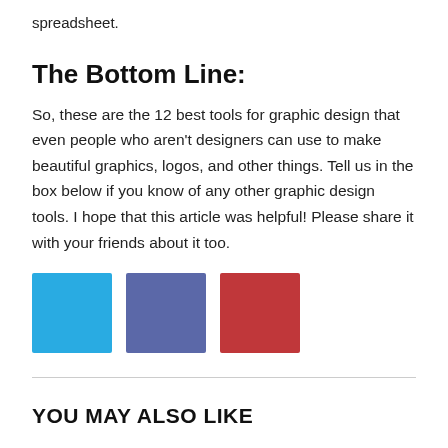spreadsheet.
The Bottom Line:
So, these are the 12 best tools for graphic design that even people who aren't designers can use to make beautiful graphics, logos, and other things. Tell us in the box below if you know of any other graphic design tools. I hope that this article was helpful! Please share it with your friends about it too.
[Figure (infographic): Three social sharing buttons: a light blue Twitter button, a medium blue Facebook button, and a red Pinterest button, each approximately square.]
YOU MAY ALSO LIKE